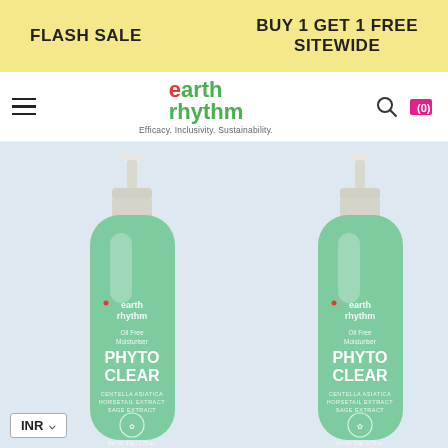FLASH SALE   BUY 1 GET 1 FREE SITEWIDE
[Figure (logo): Earth Rhythm logo with tagline: Efficacy. Inclusivity. Sustainability.]
[Figure (photo): Two green Earth Rhythm Phyto Clear Oil Free Moisturiser bottles with white pump caps, displayed side by side on a light blue background. Each bottle shows brand name 'earth rhythm', 'Oil Free Moisturiser', 'PHYTO CLEAR', 'CENTELLA ASIATICA HORSETAIL EXTRACT SAGE EXTRACT', Net Wt. 50g / 1.75 oz.]